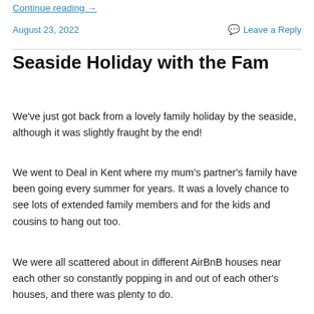Continue reading →
August 23, 2022
💬 Leave a Reply
Seaside Holiday with the Fam
We've just got back from a lovely family holiday by the seaside, although it was slightly fraught by the end!
We went to Deal in Kent where my mum's partner's family have been going every summer for years. It was a lovely chance to see lots of extended family members and for the kids and cousins to hang out too.
We were all scattered about in different AirBnB houses near each other so constantly popping in and out of each other's houses, and there was plenty to do.